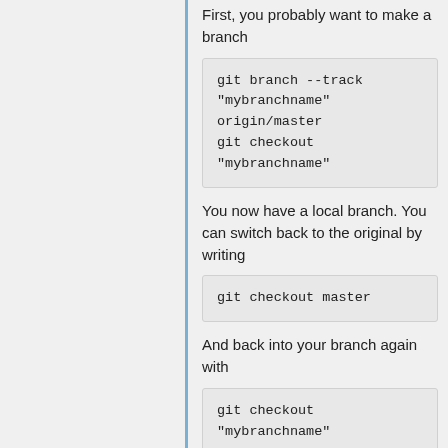First, you probably want to make a branch
git branch --track "mybranchname" origin/master
git checkout "mybranchname"
You now have a local branch. You can switch back to the original by writing
git checkout master
And back into your branch again with
git checkout "mybranchname"